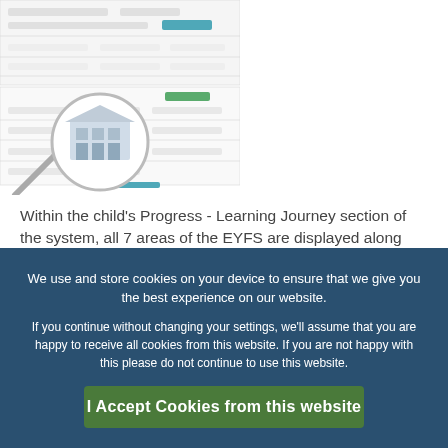[Figure (screenshot): Screenshot of a learning management system UI with a magnifying glass overlay showing a building image]
Within the child's Progress - Learning Journey section of the system, all 7 areas of the EYFS are displayed along with their Early Years Outcomes, alongside each Early Years Outcome is
We use and store cookies on your device to ensure that we give you the best experience on our website.

If you continue without changing your settings, we'll assume that you are happy to receive all cookies from this website. If you are not happy with this please do not continue to use this website.
I Accept Cookies from this website